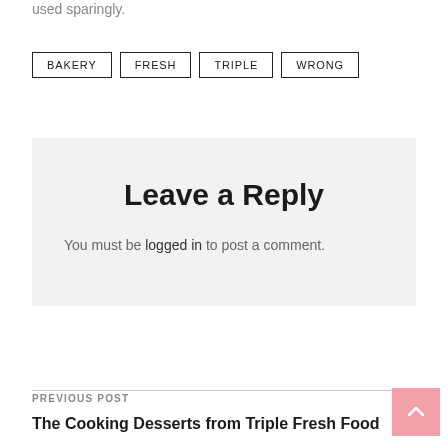used sparingly.
BAKERY
FRESH
TRIPLE
WRONG
Leave a Reply
You must be logged in to post a comment.
PREVIOUS POST
The Cooking Desserts from Triple Fresh Food